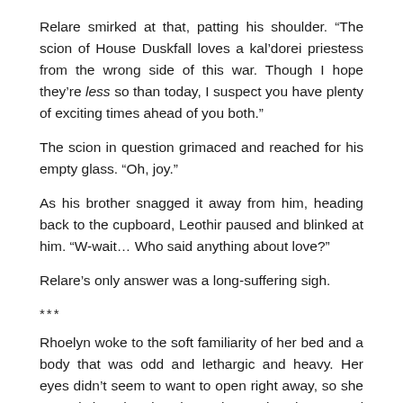Relare smirked at that, patting his shoulder. “The scion of House Duskfall loves a kal’dorei priestess from the wrong side of this war. Though I hope they’re less so than today, I suspect you have plenty of exciting times ahead of you both.”
The scion in question grimaced and reached for his empty glass. “Oh, joy.”
As his brother snagged it away from him, heading back to the cupboard, Leothir paused and blinked at him. “W-wait… Who said anything about love?”
Relare’s only answer was a long-suffering sigh.
***
Rhoelyn woke to the soft familiarity of her bed and a body that was odd and lethargic and heavy. Her eyes didn’t seem to want to open right away, so she moved her hands along the satin sheets and wallowed in the warmth of her down comforter, trying to gather up thoughts that seemed dristy and out of focus.
“Rhe-” She stopped herself from calling the first name that